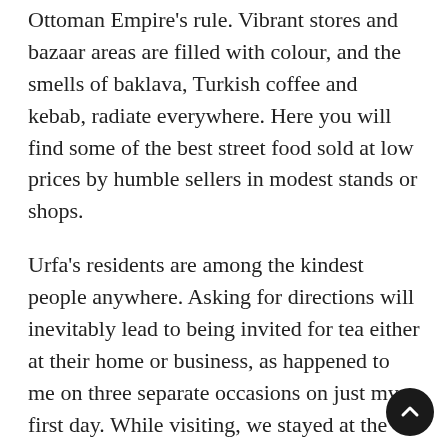Ottoman Empire's rule. Vibrant stores and bazaar areas are filled with colour, and the smells of baklava, Turkish coffee and kebab, radiate everywhere. Here you will find some of the best street food sold at low prices by humble sellers in modest stands or shops.
Urfa's residents are among the kindest people anywhere. Asking for directions will inevitably lead to being invited for tea either at their home or business, as happened to me on three separate occasions on just my first day. While visiting, we stayed at the centrally located Nevali Hotel. It provides top-class service and has a beautiful view of the city's hills.
The greater Urfa area has been constantly inhabited by humans since the early neolithic era, more than 12,000 years ago. To get a sense of the region's history, start your journey with a visit to the Şanliurfa Archeology Museum—a world-class institution showing human development from the stone age era of the caveman in the early pre-pottery neolithic period when homo sapiens